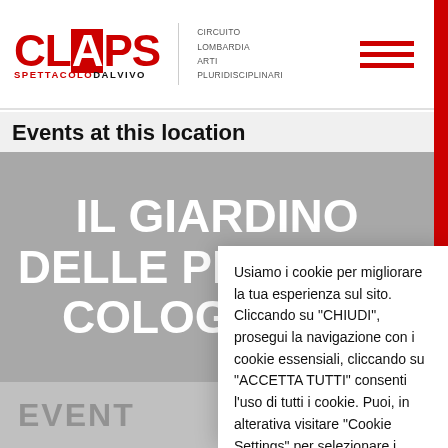[Figure (logo): CLAPS logo - Circuito Lombardia Arti Pluridisciplinari Spettacolo dal Vivo, with red hamburger menu icon]
Events at this location
[Figure (other): Gray card with white bold text: IL GIARDINO DELLE PRIGIONI - COLOGNO AL (truncated)]
Usiamo i cookie per migliorare la tua esperienza sul sito. Cliccando su "CHIUDI", prosegui la navigazione con i cookie essensiali, cliccando su "ACCETTA TUTTI" consenti l'uso di tutti i cookie. Puoi, in alterativa visitare "Cookie Settings" per selezionare i cookie che vuoi siano installati.
EVENTI
CHIUDI
Cookie Settings